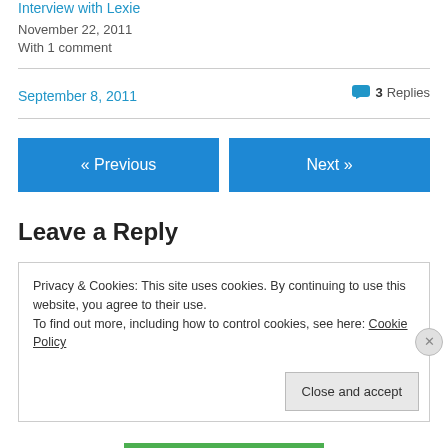Interview with Lexie
November 22, 2011
With 1 comment
September 8, 2011
3 Replies
« Previous
Next »
Leave a Reply
Privacy & Cookies: This site uses cookies. By continuing to use this website, you agree to their use.
To find out more, including how to control cookies, see here: Cookie Policy
Close and accept